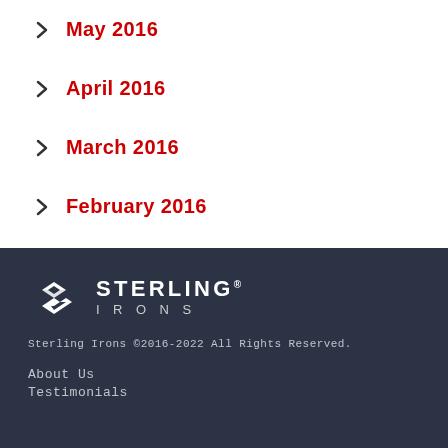May 2016
April 2016
March 2016
February 2016
[Figure (logo): Sterling Irons logo with diamond-shaped S icon and STERLING IRONS text]
Sterling Irons ©2016-2022 All Rights Reserved.
About Us
Testimonials